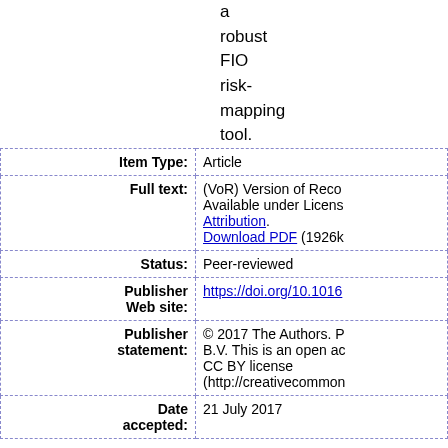a robust FIO risk-mapping tool.
| Field | Value |
| --- | --- |
| Item Type: | Article |
| Full text: | (VoR) Version of Record. Available under License Attribution.
Download PDF (1926k... |
| Status: | Peer-reviewed |
| Publisher Web site: | https://doi.org/10.1016... |
| Publisher statement: | © 2017 The Authors. ... B.V. This is an open access ... CC BY license (http://creativecommons... |
| Date accepted: | 21 July 2017 |